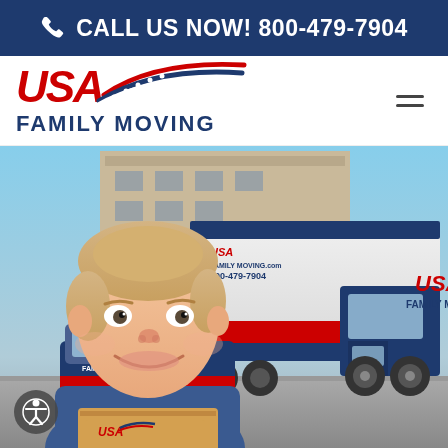CALL US NOW! 800-479-7904
[Figure (logo): USA Family Moving logo with red USA text, blue family moving text, and American flag swoosh graphic]
[Figure (photo): Young blond boy smiling, holding a cardboard box with USA Family Moving logo, in front of USA Family Moving trucks parked at a commercial building. The moving truck has USA Family Moving.com and 800-479-7904 printed on the side.]